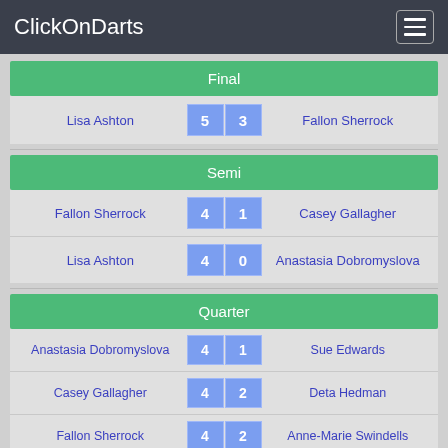ClickOnDarts
Final
| Player 1 | Score 1 | Score 2 | Player 2 |
| --- | --- | --- | --- |
| Lisa Ashton | 5 | 3 | Fallon Sherrock |
Semi
| Player 1 | Score 1 | Score 2 | Player 2 |
| --- | --- | --- | --- |
| Fallon Sherrock | 4 | 1 | Casey Gallagher |
| Lisa Ashton | 4 | 0 | Anastasia Dobromyslova |
Quarter
| Player 1 | Score 1 | Score 2 | Player 2 |
| --- | --- | --- | --- |
| Anastasia Dobromyslova | 4 | 1 | Sue Edwards |
| Casey Gallagher | 4 | 2 | Deta Hedman |
| Fallon Sherrock | 4 | 2 | Anne-Marie Swindells |
| Lisa Ashton | 4 | 2 | Sarah Roberts |